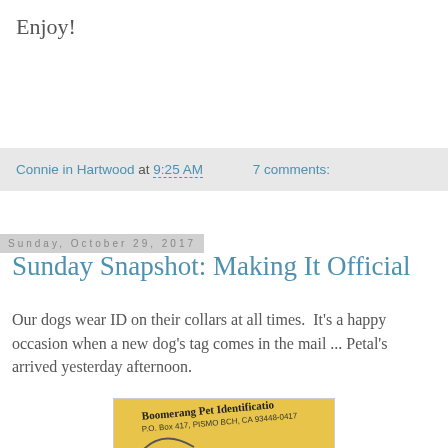Enjoy!
Connie in Hartwood at 9:25 AM   7 comments:
Sunday, October 29, 2017
Sunday Snapshot: Making It Official
Our dogs wear ID on their collars at all times.  It's a happy occasion when a new dog's tag comes in the mail ... Petal's arrived yesterday afternoon.
[Figure (photo): Yellow envelope from Boomerang Pet Identification, P.O. Box 417, Pismo Bch, CA 93448-0417, with partial boomerang logo visible at bottom]